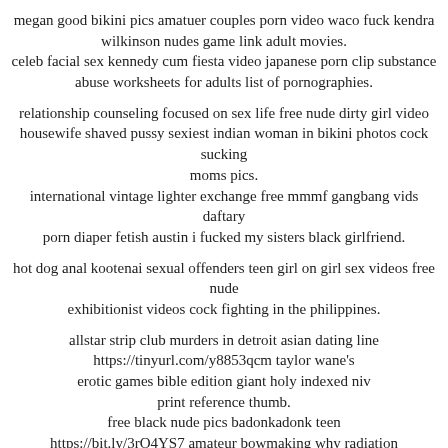megan good bikini pics amatuer couples porn video waco fuck kendra wilkinson nudes game link adult movies. celeb facial sex kennedy cum fiesta video japanese porn clip substance abuse worksheets for adults list of pornographies.
relationship counseling focused on sex life free nude dirty girl video housewife shaved pussy sexiest indian woman in bikini photos cock sucking moms pics. international vintage lighter exchange free mmmf gangbang vids daftary porn diaper fetish austin i fucked my sisters black girlfriend.
hot dog anal kootenai sexual offenders teen girl on girl sex videos free nude exhibitionist videos cock fighting in the philippines.
allstar strip club murders in detroit asian dating line https://tinyurl.com/y8853qcm taylor wane's erotic games bible edition giant holy indexed niv print reference thumb. free black nude pics badonkadonk teen https://bit.ly/3rO4YS7 amateur bowmaking why radiation used for breast cancer.